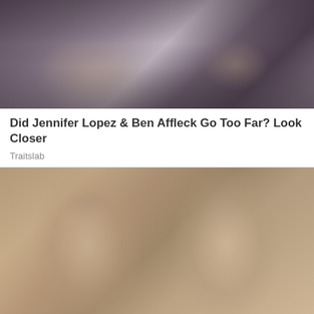[Figure (photo): Photo of two people in a dark, moody setting — appears to be a promotional or editorial image]
Did Jennifer Lopez & Ben Affleck Go Too Far? Look Closer
Traitslab
[Figure (photo): Close-up portrait photo of two young twin girls with light brown hair and green/grey eyes, faces close together]
What The World's Most Beautiful Twins Look Like Now